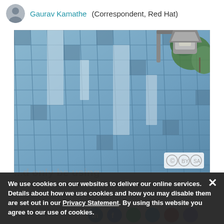Gaurav Kamathe (Correspondent, Red Hat)
[Figure (photo): Upward-angle photo of a glass-curtain-wall office building facade showing a grid of blue-tinted windows, with a street lamp and tree branches visible in the upper right corner. A Creative Commons BY-SA license badge appears in the lower-right corner of the image.]
We use cookies on our websites to deliver our online services. Details about how we use cookies and how you may disable them are set out in our Privacy Statement. By using this website you agree to our use of cookies.